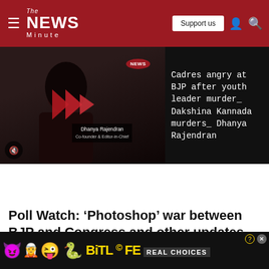The News Minute
[Figure (screenshot): Video thumbnail showing a woman (Dhanya Rajendran) with red play arrows overlaid, news badge top right, mute icon bottom left. Right side shows headline text about BJP youth leader murder in Dakshina Kannada.]
Cadres angry at BJP after youth leader murder_ Dakshina Kannada murders_ Dhanya Rajendran
Poll Watch: ‘Photoshop’ war between BJP and Congress and other updates
In the n...
[Figure (screenshot): BitLife REAL CHOICES advertisement banner with emoji characters (devil, girl with halo, winking face) and a snake emoji.]